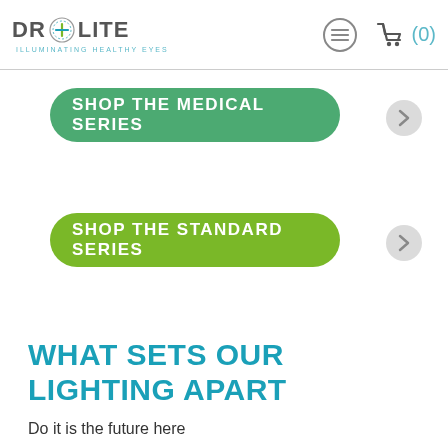DR+LITE — ILLUMINATING HEALTHY EYES
[Figure (screenshot): Green rounded button labeled SHOP THE MEDICAL SERIES with a right-arrow circle button beside it]
[Figure (screenshot): Lime-green rounded button labeled SHOP THE STANDARD SERIES with a right-arrow circle button beside it]
WHAT SETS OUR LIGHTING APART
Do it is the future here...